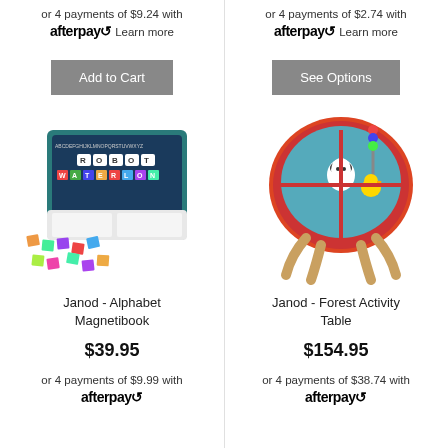or 4 payments of $9.24 with afterpay Learn more
or 4 payments of $2.74 with afterpay Learn more
Add to Cart
See Options
[Figure (photo): Janod Alphabet Magnetibook product photo showing a magnetic letter book with scattered letter tiles]
[Figure (photo): Janod Forest Activity Table product photo showing a colorful wooden activity table with bead maze and animal figures on red tabletop]
Janod - Alphabet Magnetibook
Janod - Forest Activity Table
$39.95
$154.95
or 4 payments of $9.99 with afterpay
or 4 payments of $38.74 with afterpay